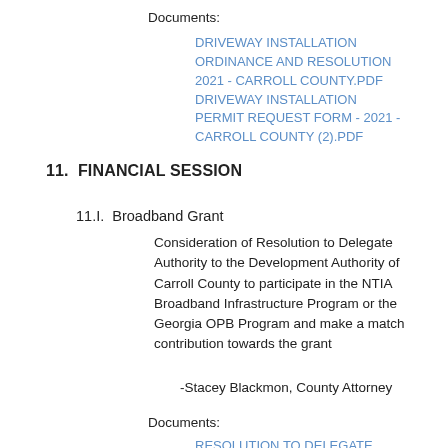Documents:
DRIVEWAY INSTALLATION ORDINANCE AND RESOLUTION 2021 - CARROLL COUNTY.PDF
DRIVEWAY INSTALLATION PERMIT REQUEST FORM - 2021 - CARROLL COUNTY (2).PDF
11.  FINANCIAL SESSION
11.I.  Broadband Grant
Consideration of Resolution to Delegate Authority to the Development Authority of Carroll County to participate in the NTIA Broadband Infrastructure Program or the Georgia OPB Program and make a match contribution towards the grant
-Stacey Blackmon, County Attorney
Documents:
RESOLUTION TO DELEGATE